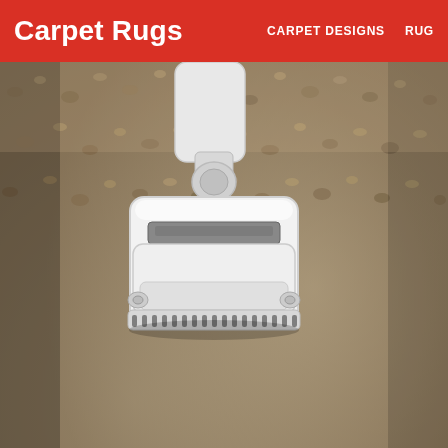Carpet Rugs   CARPET DESIGNS   RUG
[Figure (photo): Close-up photo of a white vacuum cleaner head/attachment being used on a plush brown/beige carpet. The vacuum head is white and rectangular with a dark gray strip, and it rests on thick, textured carpet fibers.]
Best Vacuum Plush Carpet